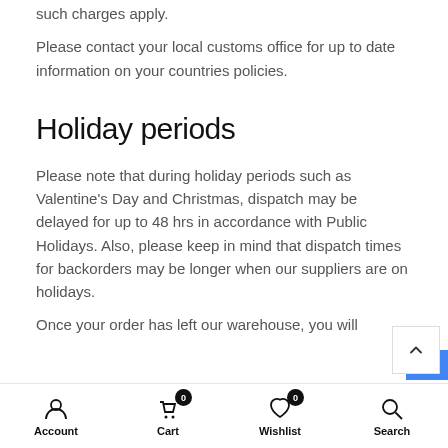such charges apply.
Please contact your local customs office for up to date information on your countries policies.
Holiday periods
Please note that during holiday periods such as Valentine's Day and Christmas, dispatch may be delayed for up to 48 hrs in accordance with Public Holidays. Also, please keep in mind that dispatch times for backorders may be longer when our suppliers are on holidays.
Once your order has left our warehouse, you will
Account | Cart 0 | Wishlist 0 | Search